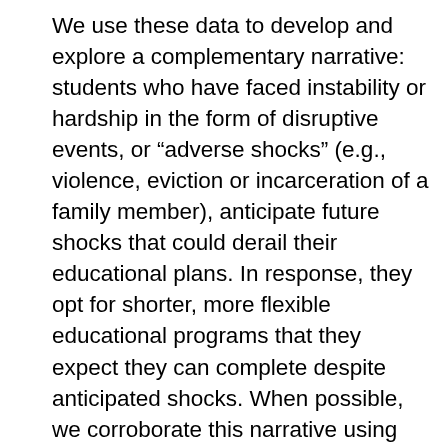We use these data to develop and explore a complementary narrative: students who have faced instability or hardship in the form of disruptive events, or “adverse shocks” (e.g., violence, eviction or incarceration of a family member), anticipate future shocks that could derail their educational plans. In response, they opt for shorter, more flexible educational programs that they expect they can complete despite anticipated shocks. When possible, we corroborate this narrative using publicly available, large-N data sets such as the National Longitudinal Survey of Youth (NLSY). Finally, we formalize this narrative as a simple dynamic structural model calibrated using data on education choices and returns. The model clarifies that it is impossible to identify costs of schooling without data on beliefs about the probability of non-completion, thus providing guidance on future data collection priorities. More broadly, our approach demonstrates a novel